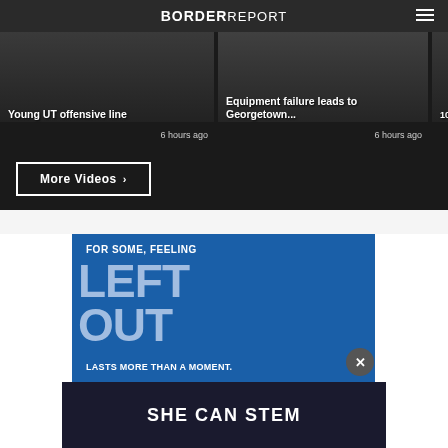BORDER REPORT
Young UT offensive line
6 hours ago
Equipment failure leads to Georgetown...
6 hours ago
10-yea a publ
More Videos ›
[Figure (infographic): Blue advertisement banner reading FOR SOME, FEELING LEFT OUT LASTS MORE THAN A MOMENT.]
SHE CAN STEM